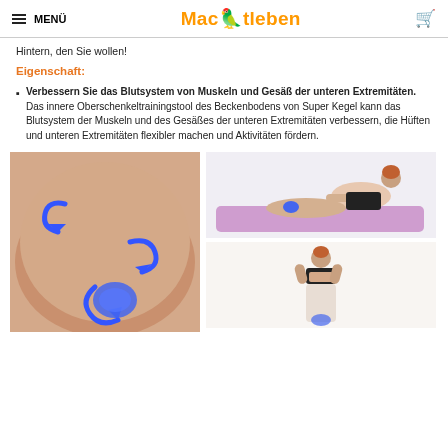MENÜ | Mactleben | cart
Hintern, den Sie wollen!
Eigenschaft:
Verbessern Sie das Blutsystem von Muskeln und Gesäß der unteren Extremitäten. Das innere Oberschenkeltrainingstool des Beckenbodens von Super Kegel kann das Blutsystem der Muskeln und des Gesäßes der unteren Extremitäten verbessern, die Hüften und unteren Extremitäten flexibler machen und Aktivitäten fördern.
[Figure (photo): Close-up of buttocks/thighs with blue arrows indicating muscle movement and a blue exercise device between the thighs]
[Figure (photo): Woman in black sports top and beige leggings exercising on a purple yoga mat using the kegel device]
[Figure (photo): Woman in black sports bra and light beige leggings with hands behind head, back view]